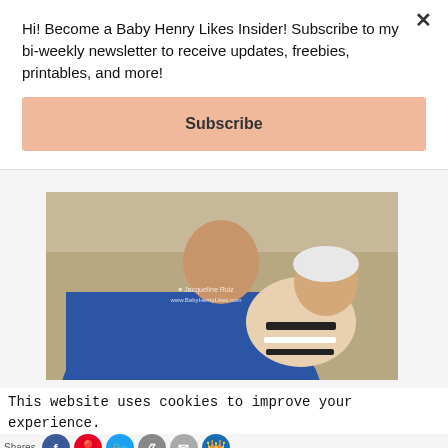Hi! Become a Baby Henry Likes Insider! Subscribe to my bi-weekly newsletter to receive updates, freebies, printables, and more!
Subscribe
[Figure (photo): Person in blue sweater holding a newborn baby wrapped in white blanket with stripe details. Watermark reads: Jacqueline Ruiz www.BabyHenryLikes.com]
This website uses cookies to improve your experience. We'll assume you're ok with this, but you can opt-out if you wish.
Accept
Reject
Read More
Shares